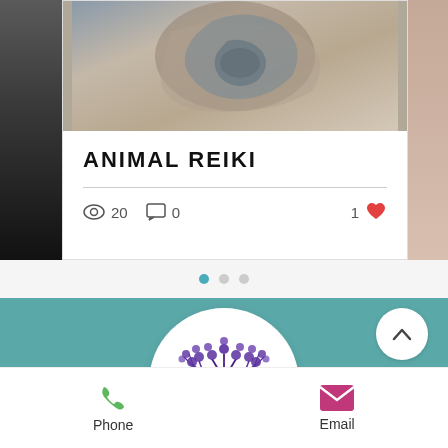[Figure (screenshot): Screenshot of a website/app page showing an Animal Reiki blog post card with view count 20, comment count 0, and 1 like, alongside a teal footer with Love Makes A Family LLC logo, phone and email contact buttons]
ANIMAL REIKI
20  0  1
[Figure (logo): Love Makes A Family LLC logo — tree illustration in purple inside a white circle]
Phone
Email